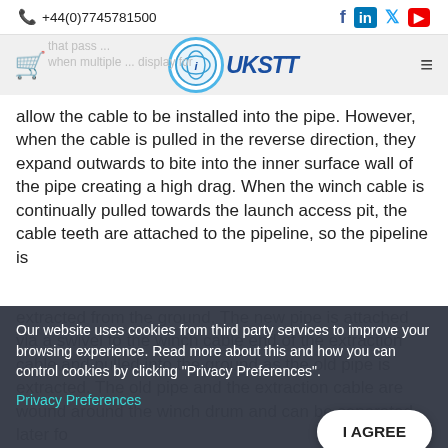+44(0)7745781500
[Figure (logo): UKSTT logo with circular emblem and text]
allow the cable to be installed into the pipe. However, when the cable is pulled in the reverse direction, they expand outwards to bite into the inner surface wall of the pipe creating a high drag. When the winch cable is continually pulled towards the launch access pit, the cable teeth are attached to the pipeline, so the pipeline is extracted from the ground. The new pipe is attached via a swivel to the winch cable end of the extraction cable and pulled into the ground as the old pipe is extracted. The old pipe and the extraction cable are wound around the winch drum and can be separated later for
Our website uses cookies from third party services to improve your browsing experience. Read more about this and how you can control cookies by clicking "Privacy Preferences".
Privacy Preferences